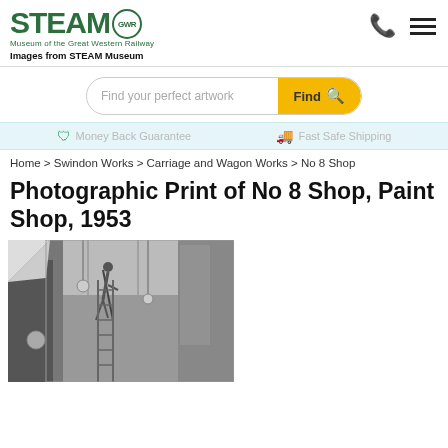STEAM GWR Museum of the Great Western Railway
Images from STEAM Museum
Find your perfect artwork | Find
Money Back Guarantee   Fast Safe Shipping
Home > Swindon Works > Carriage and Wagon Works > No 8 Shop
Photographic Print of No 8 Shop, Paint Shop, 1953
[Figure (photo): Black and white photographic print showing interior of No 8 Shop (Paint Shop) at Swindon Works, 1953. A worker is seen on a ladder or elevated position working on a railway carriage. The shop has a high ceiling with industrial pendant lights hanging down. The photo is displayed with a curled corner effect in the top-left.]